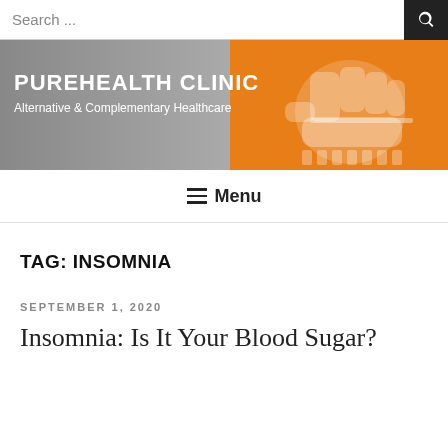Search ...
[Figure (screenshot): PureHealth Clinic banner with orange background and stylized fist/hand icon. Title: PUREHEALTH CLINIC. Subtitle: Alternative & Complementary Healthcare]
≡ Menu
TAG: INSOMNIA
SEPTEMBER 1, 2020
Insomnia: Is It Your Blood Sugar?